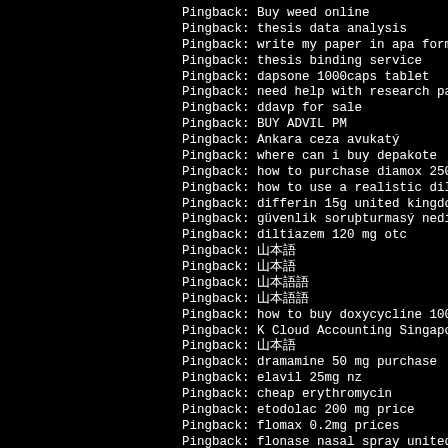Pingback: Buy weed online
Pingback: thesis data analysis
Pingback: write my paper in apa format
Pingback: thesis binding service
Pingback: dapsone 1000caps tablet
Pingback: need help with research paper
Pingback: ddavp for sale
Pingback: BUY ADVIL PM
Pingback: Ankara ceza avukatý
Pingback: where can i buy depakote
Pingback: how to purchase diamox 250 mg
Pingback: how to use a realistic dildo
Pingback: differin 15g united kingdom
Pingback: güvenlik soruþturmasý nedir
Pingback: diltiazem 120 mg otc
Pingback: 日本語
Pingback: 日本語
Pingback: 日本語語
Pingback: 日本語語
Pingback: how to buy doxycycline 100mg
Pingback: K Cloud Accounting Singapore
Pingback: 日本語
Pingback: dramamine 50 mg purchase
Pingback: elavil 25mg nz
Pingback: cheap erythromycin
Pingback: etodolac 200 mg price
Pingback: flomax 0.2mg prices
Pingback: flonase nasal spray united kingdom
Pingback: فیلم سکسی ایرانی
Pingback: WHERE TO BUY GASTROX-OXIDE ONLINE
Pingback: garcinia cambogia 100caps no prescription
Pingback: bulk berry